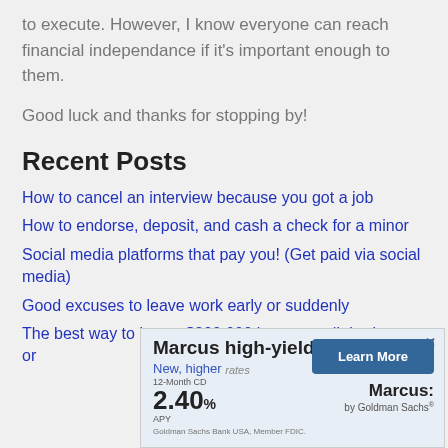to execute. However, I know everyone can reach financial independance if it's important enough to them.
Good luck and thanks for stopping by!
Recent Posts
How to cancel an interview because you got a job
How to endorse, deposit, and cash a check for a minor
Social media platforms that pay you! (Get paid via social media)
Good excuses to leave work early or suddenly
The best way to invest $200,000 lump sum (Inheritance or
[Figure (other): Advertisement for Marcus high-yield CD. New, higher rates. 12-Month CD 2.40% APY. Goldman Sachs Bank USA, Member FDIC. Learn More button. Marcus by Goldman Sachs logo.]